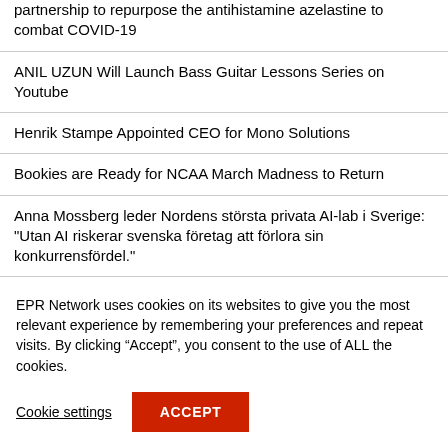partnership to repurpose the antihistamine azelastine to combat COVID-19
ANIL UZUN Will Launch Bass Guitar Lessons Series on Youtube
Henrik Stampe Appointed CEO for Mono Solutions
Bookies are Ready for NCAA March Madness to Return
Anna Mossberg leder Nordens största privata AI-lab i Sverige: "Utan AI riskerar svenska företag att förlora sin konkurrensfördel."
EPR Network uses cookies on its websites to give you the most relevant experience by remembering your preferences and repeat visits. By clicking “Accept”, you consent to the use of ALL the cookies.
Cookie settings
ACCEPT